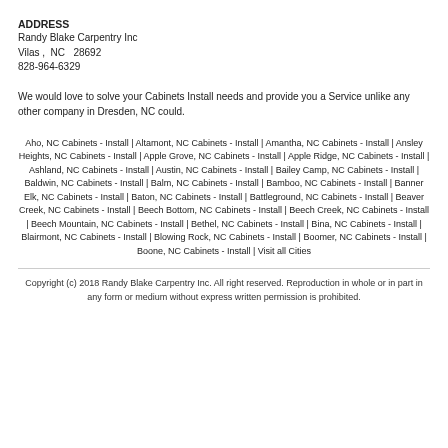ADDRESS
Randy Blake Carpentry Inc
Vilas ,  NC   28692
828-964-6329
We would love to solve your Cabinets Install needs and provide you a Service unlike any other company in Dresden, NC could.
Aho, NC Cabinets - Install | Altamont, NC Cabinets - Install | Amantha, NC Cabinets - Install | Ansley Heights, NC Cabinets - Install | Apple Grove, NC Cabinets - Install | Apple Ridge, NC Cabinets - Install | Ashland, NC Cabinets - Install | Austin, NC Cabinets - Install | Bailey Camp, NC Cabinets - Install | Baldwin, NC Cabinets - Install | Balm, NC Cabinets - Install | Bamboo, NC Cabinets - Install | Banner Elk, NC Cabinets - Install | Baton, NC Cabinets - Install | Battleground, NC Cabinets - Install | Beaver Creek, NC Cabinets - Install | Beech Bottom, NC Cabinets - Install | Beech Creek, NC Cabinets - Install | Beech Mountain, NC Cabinets - Install | Bethel, NC Cabinets - Install | Bina, NC Cabinets - Install | Blairmont, NC Cabinets - Install | Blowing Rock, NC Cabinets - Install | Boomer, NC Cabinets - Install | Boone, NC Cabinets - Install | Visit all Cities
Copyright (c) 2018 Randy Blake Carpentry Inc. All right reserved. Reproduction in whole or in part in any form or medium without express written permission is prohibited.